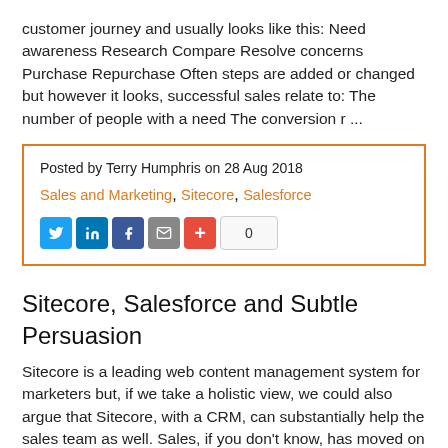customer journey and usually looks like this: Need awareness Research Compare Resolve concerns Purchase Repurchase Often steps are added or changed but however it looks, successful sales relate to: The number of people with a need The conversion r ...
Posted by Terry Humphris on 28 Aug 2018
Sales and Marketing, Sitecore, Salesforce
Sitecore, Salesforce and Subtle Persuasion
Sitecore is a leading web content management system for marketers but, if we take a holistic view, we could also argue that Sitecore, with a CRM, can substantially help the sales team as well. Sales, if you don't know, has moved on from the days of: Grab x number of phone numbers Spend a week calling them Repeat Today's sales teams have more